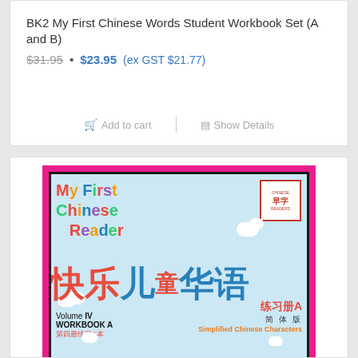BK2 My First Chinese Words Student Workbook Set (A and B)
$31.95 • $23.95 (ex GST $21.77)
Add to cart | Show Details
[Figure (illustration): Book cover of 'My First Chinese Reader' Volume IV Workbook A, with colorful Chinese and English text on a light blue background with pink border. Shows Chinese characters 快乐儿童华语, subtitle 练习册A 简体版 Simplified Chinese Characters, Volume IV WORKBOOK A 第四册练习A本.]